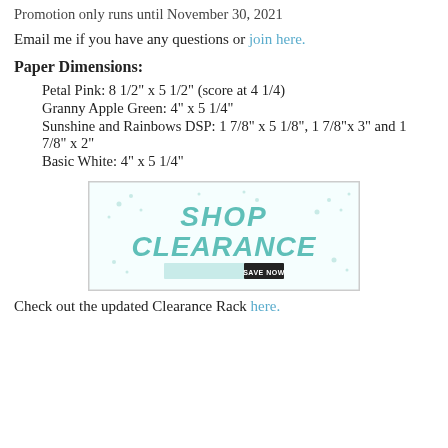Promotion only runs until November 30, 2021
Email me if you have any questions or join here.
Paper Dimensions:
Petal Pink: 8 1/2" x 5 1/2" (score at 4 1/4)
Granny Apple Green: 4" x 5 1/4"
Sunshine and Rainbows DSP: 1 7/8" x 5 1/8", 1 7/8"x 3" and 1 7/8" x 2"
Basic White: 4" x 5 1/4"
[Figure (illustration): Shop Clearance banner with teal text on white/light background and a Save Now button]
Check out the updated Clearance Rack here.